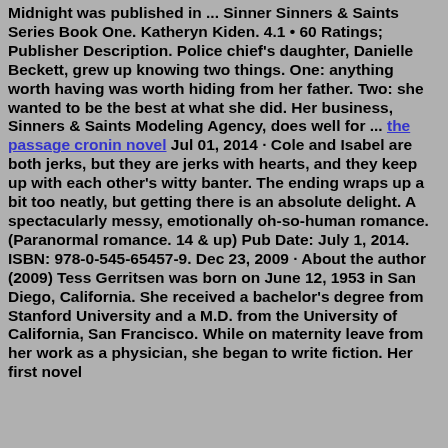Midnight was published in ... Sinner Sinners & Saints Series Book One. Katheryn Kiden. 4.1 • 60 Ratings; Publisher Description. Police chief's daughter, Danielle Beckett, grew up knowing two things. One: anything worth having was worth hiding from her father. Two: she wanted to be the best at what she did. Her business, Sinners & Saints Modeling Agency, does well for ... the passage cronin novel Jul 01, 2014 · Cole and Isabel are both jerks, but they are jerks with hearts, and they keep up with each other's witty banter. The ending wraps up a bit too neatly, but getting there is an absolute delight. A spectacularly messy, emotionally oh-so-human romance. (Paranormal romance. 14 & up) Pub Date: July 1, 2014. ISBN: 978-0-545-65457-9. Dec 23, 2009 · About the author (2009) Tess Gerritsen was born on June 12, 1953 in San Diego, California. She received a bachelor's degree from Stanford University and a M.D. from the University of California, San Francisco. While on maternity leave from her work as a physician, she began to write fiction. Her first novel